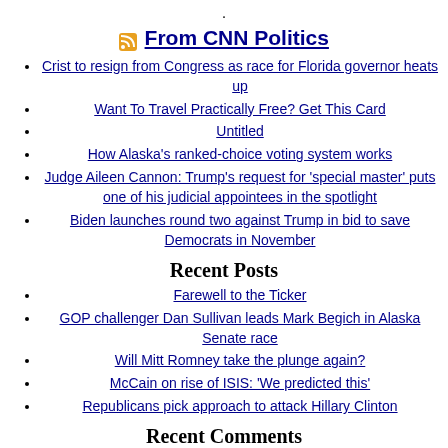.
From CNN Politics
Crist to resign from Congress as race for Florida governor heats up
Want To Travel Practically Free? Get This Card
Untitled
How Alaska's ranked-choice voting system works
Judge Aileen Cannon: Trump's request for 'special master' puts one of his judicial appointees in the spotlight
Biden launches round two against Trump in bid to save Democrats in November
Recent Posts
Farewell to the Ticker
GOP challenger Dan Sullivan leads Mark Begich in Alaska Senate race
Will Mitt Romney take the plunge again?
McCain on rise of ISIS: 'We predicted this'
Republicans pick approach to attack Hillary Clinton
Recent Comments